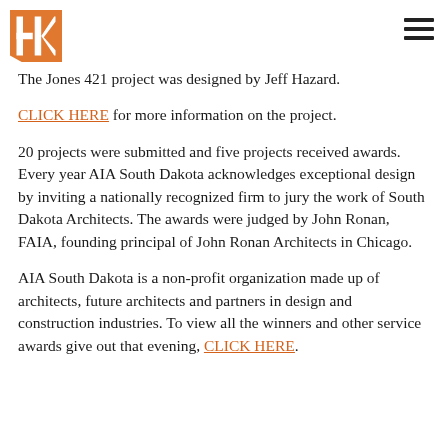[Logo: hk architects] [Hamburger menu icon]
The Jones 421 project was designed by Jeff Hazard.
CLICK HERE for more information on the project.
20 projects were submitted and five projects received awards. Every year AIA South Dakota acknowledges exceptional design by inviting a nationally recognized firm to jury the work of South Dakota Architects. The awards were judged by John Ronan, FAIA, founding principal of John Ronan Architects in Chicago.
AIA South Dakota is a non-profit organization made up of architects, future architects and partners in design and construction industries. To view all the winners and other service awards give out that evening, CLICK HERE.